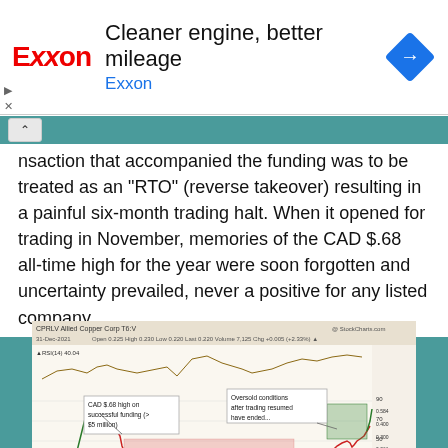[Figure (infographic): Exxon advertisement banner: Exxon logo in red, headline 'Cleaner engine, better mileage', subtext 'Exxon' in blue, blue diamond navigation icon on the right]
nsaction that accompanied the funding was to be treated as an "RTO" (reverse takeover) resulting in a painful six-month trading halt. When it opened for trading in November, memories of the CAD $.68 all-time high for the year were soon forgotten and uncertainty prevailed, never a positive for any listed company.
[Figure (screenshot): Stock chart for CPRLV Allied Copper Corp T6:V dated 31-Dec-2021. Open 0.225 High 0.230 Low 0.220 Last 0.220 Volume 7,125 Chg +0.005 (+2.33%). Shows RSI(14) 40.04. Annotations: 'CAD $.68 high on successful funding (> $5 million)', 'Oversold conditions after trading resumed have ended...', 'IIROC trading halt' (red shaded region), 'CAD $.30 financing closes...', 'The re-opening in November and subsequent sell-off has created a unique opportunity...' StockCharts.com watermark.]